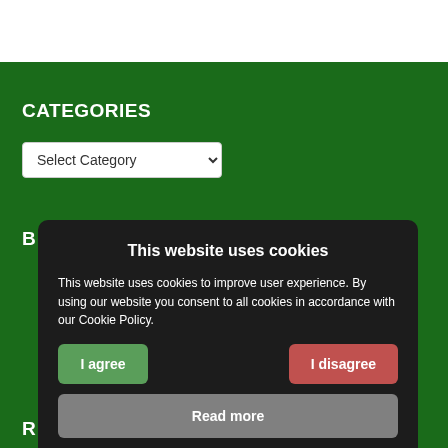CATEGORIES
Select Category
B
This website uses cookies
This website uses cookies to improve user experience. By using our website you consent to all cookies in accordance with our Cookie Policy.
I agree
I disagree
Read more
Free cookie consent by cookie-script.com
R